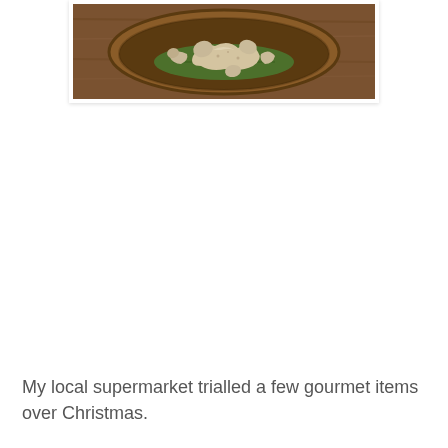[Figure (photo): A wooden bowl containing ginger root pieces with green leaf underneath, photographed from above on a warm brown wooden background.]
My local supermarket trialled a few gourmet items over Christmas.